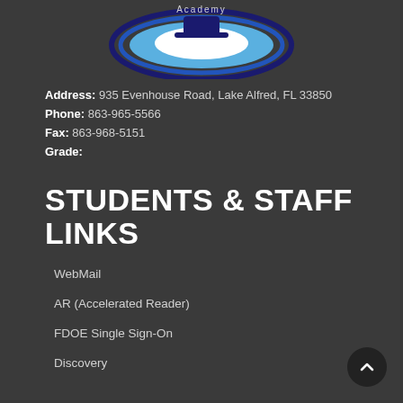[Figure (logo): School academy logo with blue wave/water design and 'Academy' text]
Address: 935 Evenhouse Road, Lake Alfred, FL 33850
Phone: 863-965-5566
Fax: 863-968-5151
Grade:
STUDENTS & STAFF LINKS
WebMail
AR (Accelerated Reader)
FDOE Single Sign-On
Discovery